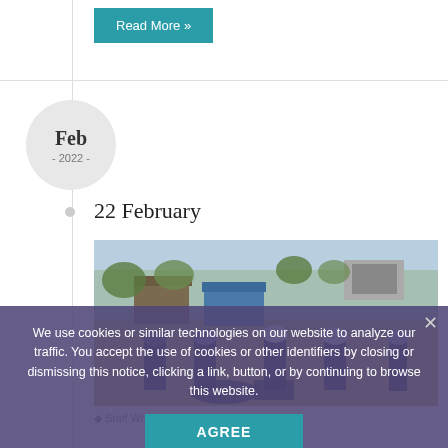Read More »
Feb
- 2022 -
22 February
[Figure (photo): Several personnel in protective gear and helmets standing in a field with buildings and trees in the background, an outdoor scene with dry orange earth.]
Staff Writer With
We use cookies or similar technologies on our website to analyze our traffic. You accept the use of cookies or other identifiers by closing or dismissing this notice, clicking a link, button, or by continuing to browse this website.
AGREE